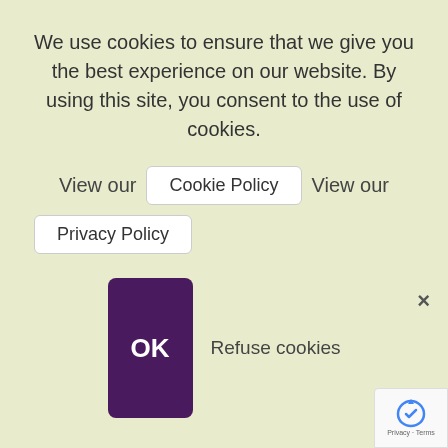We use cookies to ensure that we give you the best experience on our website. By using this site, you consent to the use of cookies.
View our  Cookie Policy  View our
Privacy Policy
OK  Refuse cookies
Garden Centre Association (GCA) South Thames Regional Awards. The Snowhill centre in Copthorne, West Sussex, scooped up a further two awards on the night, adding The Barton Grange Trophy for Commercial...
Read More